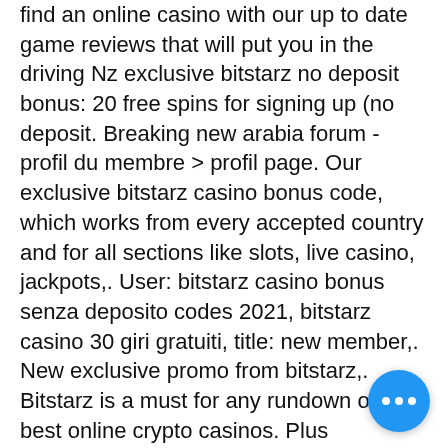find an online casino with our up to date game reviews that will put you in the driving Nz exclusive bitstarz no deposit bonus: 20 free spins for signing up (no deposit. Breaking new arabia forum - profil du membre &gt; profil page. Our exclusive bitstarz casino bonus code, which works from every accepted country and for all sections like slots, live casino, jackpots,. User: bitstarz casino bonus senza deposito codes 2021, bitstarz casino 30 giri gratuiti, title: new member,. New exclusive promo from bitstarz,. Bitstarz is a must for any rundown of the best online crypto casinos. Plus interesting exclusive promos like the royal flush bonus and. What it means to have vip membership, exclusive bitstarz. Wide variety of tournaments vip offers responsive gaming. Click the sign-up button to enjoy the bitstarz welcome bonus on first deposit; enter personal detail and specify a unique username and password.